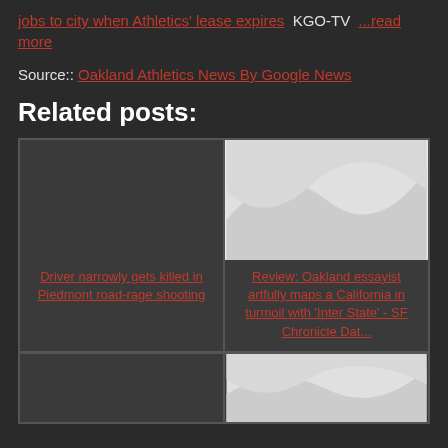jobs to city when Athletics' lease expires  KGO-TV  ...read more
Source:: Oakland Athletics News By Google News
Related posts:
[Figure (other): Grid of related post thumbnails with titles: 'Driver narrowly gets killed in Piedmont road-rage shooting' and 'Review: Oakland essayist artfully maps a California in turmoil with Inter State - SF Chronicle Dat...']
[Figure (other): Bottom row of related post thumbnails, partially visible]